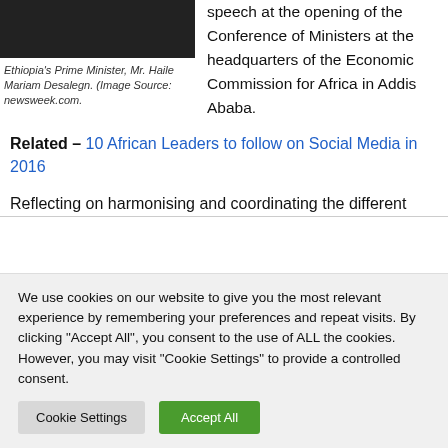[Figure (photo): Photo of Ethiopia's Prime Minister Mr. Haile Mariam Desalegn, shown from the shoulders up in formal attire.]
Ethiopia's Prime Minister, Mr. Haile Mariam Desalegn. (Image Source: newsweek.com.
speech at the opening of the Conference of Ministers at the headquarters of the Economic Commission for Africa in Addis Ababa.
Related – 10 African Leaders to follow on Social Media in 2016
Reflecting on harmonising and coordinating the different
We use cookies on our website to give you the most relevant experience by remembering your preferences and repeat visits. By clicking "Accept All", you consent to the use of ALL the cookies. However, you may visit "Cookie Settings" to provide a controlled consent.